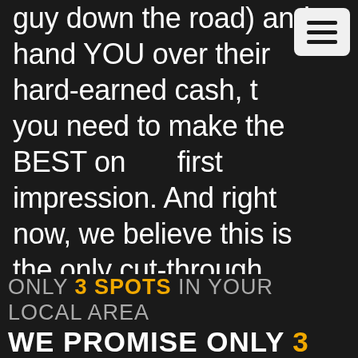guy down the road) and hand YOU over their hard-earned cash, that you need to make the BEST online first impression. And right now, we believe this is the only cut-through platform on the Australian market helping businesses like yours to do this.
ONLY 3 SPOTS IN YOUR LOCAL AREA WE PROMISE ONLY 3